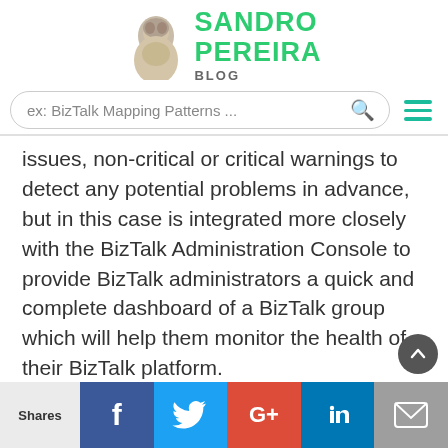SANDRO PEREIRA BLOG
ex: BizTalk Mapping Patterns ...
issues, non-critical or critical warnings to detect any potential problems in advance, but in this case is integrated more closely with the BizTalk Administration Console to provide BizTalk administrators a quick and complete dashboard of a BizTalk group which will help them monitor the health of their BizTalk platform.

You can download the standalone version of BHM from Microsoft Download Center here: BizTalk
Shares | Facebook | Twitter | G+ | LinkedIn | Email